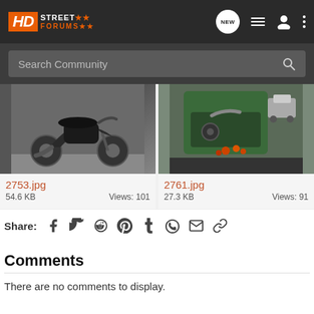HD Street Forums - Search Community
[Figure (screenshot): Gallery item: 2753.jpg - motorcycle photo, 54.6 KB, Views: 101]
[Figure (screenshot): Gallery item: 2761.jpg - motorcycle photo, 27.3 KB, Views: 91]
Share: (social icons: Facebook, Twitter, Reddit, Pinterest, Tumblr, WhatsApp, Email, Link)
Comments
There are no comments to display.